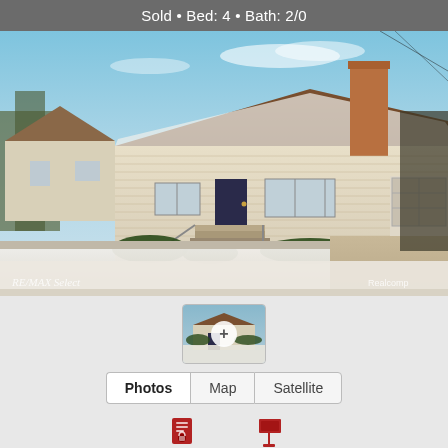Sold • Bed: 4 • Bath: 2/0
[Figure (photo): Exterior photo of a single-story residential house with snow on the ground, brown roof, brick chimney, attached garage visible on right. RE/MAX Select watermark in lower left, Realcomp watermark in lower right.]
[Figure (photo): Small thumbnail of the same house exterior with a white plus (+) button overlay in the center.]
Photos  Map  Satellite
[Figure (other): Print icon (red document/printer icon)]
[Figure (other): Nearby icon (red sign/flag icon)]
PRINT A...  NEARBY